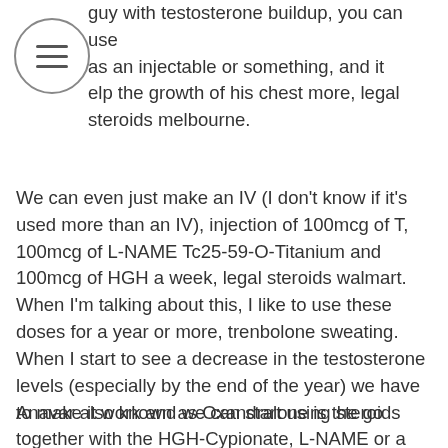guy with testosterone buildup, you can use as an injectable or something, and it elp the growth of his chest more, legal steroids melbourne.
We can even just make an IV (I don't know if it's used more than an IV), injection of 100mcg of T, 100mcg of L-NAME Tc25-59-O-Titanium and 100mcg of HGH a week, legal steroids walmart. When I'm talking about this, I like to use these doses for a year or more, trenbolone sweating. When I start to see a decrease in the testosterone levels (especially by the end of the year) we have to make it work and we can start using steroids together with the HGH-Cypionate, L-NAME or a drop of testosterone.
Anavar also known as Oxandralone is the go